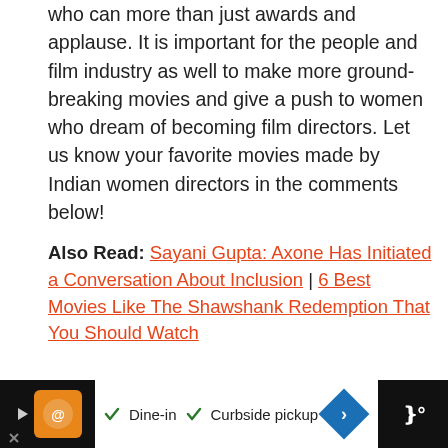who can more than just awards and applause. It is important for the people and film industry as well to make more ground-breaking movies and give a push to women who dream of becoming film directors. Let us know your favorite movies made by Indian women directors in the comments below!
Also Read: Sayani Gupta: Axone Has Initiated a Conversation About Inclusion | 6 Best Movies Like The Shawshank Redemption That You Should Watch
[Figure (illustration): Dark purple/violet banner with a pink heart icon in the center]
[Figure (infographic): Bottom advertisement bar showing restaurant listing with orange logo, dine-in and curbside pickup checkmarks, blue diamond arrow, and dark sidebar with logo]